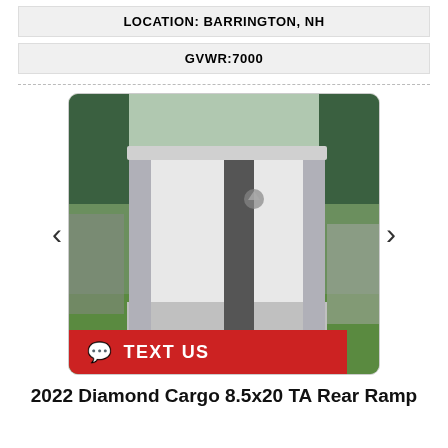LOCATION: BARRINGTON, NH
GVWR:7000
[Figure (photo): White enclosed cargo trailer with diamond plate trim, parked on grass with trees in background. Two navigation arrows (left and right) on either side. Red 'TEXT US' bar at bottom left.]
2022 Diamond Cargo 8.5x20 TA Rear Ramp